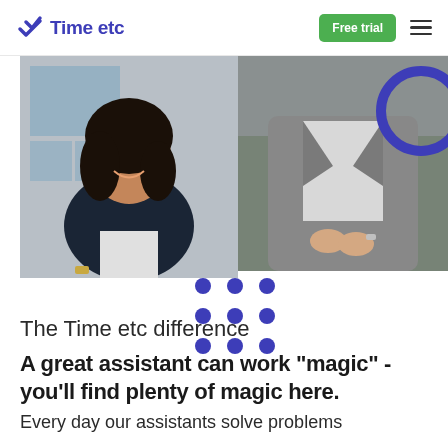Time etc | Free trial
[Figure (photo): Two-panel photo collage: left panel shows a smiling Black woman in a dark blazer and white shirt, right panel shows a person in a grey coat with hands clasped. Blue circle decoration in top right. Blue 3x3 dot grid decoration at bottom center of collage.]
The Time etc difference
A great assistant can work "magic" - you'll find plenty of magic here.
Every day our assistants solve problems